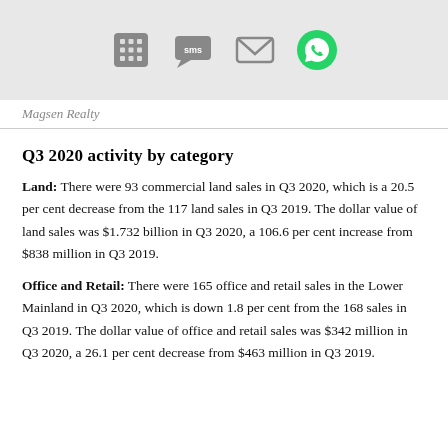Magsen Realty
Q3 2020 activity by category
Land: There were 93 commercial land sales in Q3 2020, which is a 20.5 per cent decrease from the 117 land sales in Q3 2019. The dollar value of land sales was $1.732 billion in Q3 2020, a 106.6 per cent increase from $838 million in Q3 2019.
Office and Retail: There were 165 office and retail sales in the Lower Mainland in Q3 2020, which is down 1.8 per cent from the 168 sales in Q3 2019. The dollar value of office and retail sales was $342 million in Q3 2020, a 26.1 per cent decrease from $463 million in Q3 2019.